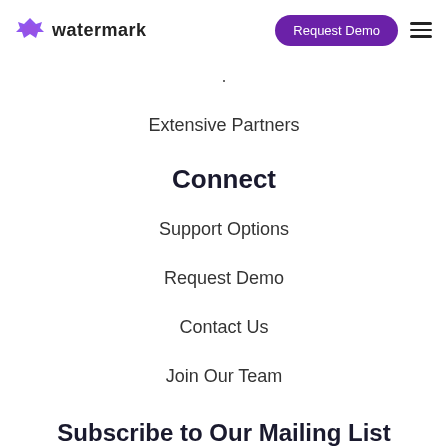watermark | Request Demo
.
Extensive Partners
Connect
Support Options
Request Demo
Contact Us
Join Our Team
Subscribe to Our Mailing List